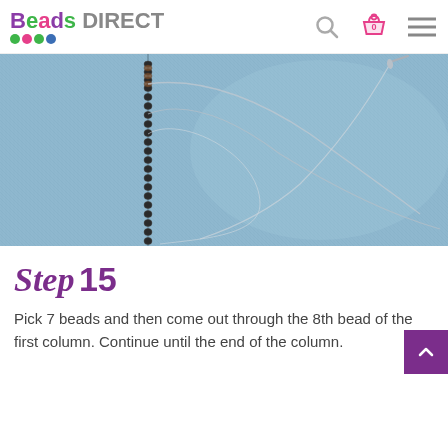Beads DIRECT
[Figure (photo): Close-up photo of blue denim fabric with a vertical line of small dark seed beads stitched along a seam, and thin transparent beading thread/needles visible on the fabric surface.]
Step 15
Pick 7 beads and then come out through the 8th bead of the first column. Continue until the end of the column.